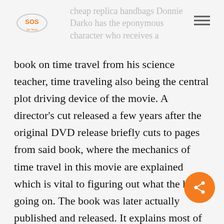cheap replica handbags Donnie Darko has the eponymous character who receives a
book on time travel from his science teacher, time traveling also being the central plot driving device of the movie. A director's cut released a few years after the original DVD release briefly cuts to pages from said book, where the mechanics of time travel in this movie are explained which is vital to figuring out what the hell is going on. The book was later actually published and released. It explains most of the background and events present in the movie. Yet while it explains some of the time travel mechanics, the closest thing we have to an explanation of